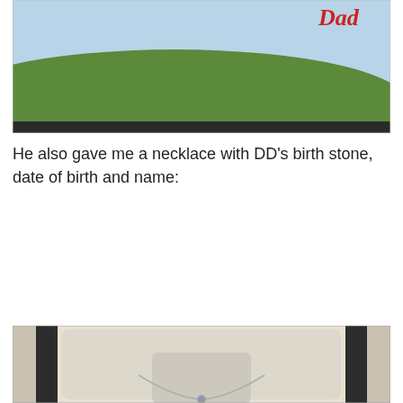[Figure (photo): Partial view of a card or book with a green hill/landscape and red cursive text reading 'Dad' in the upper right, against a light blue sky background. Bottom portion shows a dark border.]
He also gave me a necklace with DD's birth stone, date of birth and name:
[Figure (photo): Open black jewelry box with cream/white velvet interior showing a silver necklace with a small pendant and a gemstone, resting on a velvet necklace holder. Granite countertop visible on sides.]